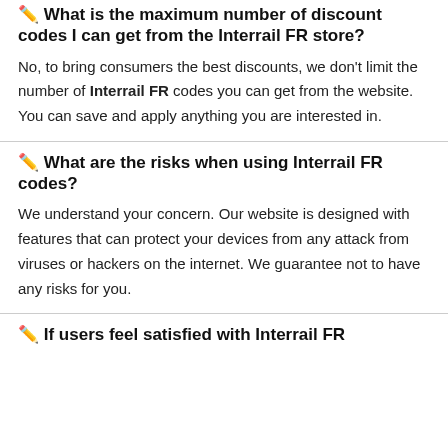🖊 What is the maximum number of discount codes I can get from the Interrail FR store?
No, to bring consumers the best discounts, we don't limit the number of Interrail FR codes you can get from the website. You can save and apply anything you are interested in.
🖊 What are the risks when using Interrail FR codes?
We understand your concern. Our website is designed with features that can protect your devices from any attack from viruses or hackers on the internet. We guarantee not to have any risks for you.
🖊 If users feel satisfied with Interrail FR